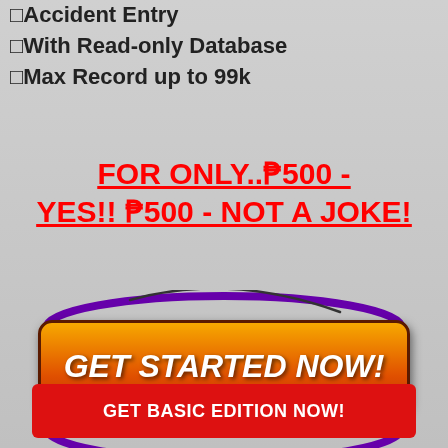✓Accident Entry
✓With Read-only Database
✓Max Record up to 99k
FOR ONLY..₱500 - YES!! ₱500 - NOT A JOKE!
[Figure (illustration): Orange gradient button with rounded corners labeled GET STARTED NOW! in white italic bold text, surrounded by a purple oval/ellipse ring]
[Figure (illustration): Red rectangular button labeled GET BASIC EDITION NOW! in white bold text]